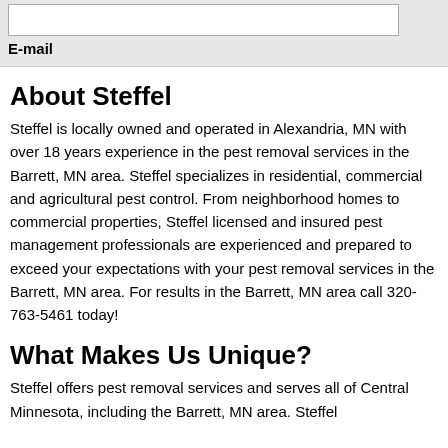E-mail
About Steffel
Steffel is locally owned and operated in Alexandria, MN with over 18 years experience in the pest removal services in the Barrett, MN area. Steffel specializes in residential, commercial and agricultural pest control. From neighborhood homes to commercial properties, Steffel licensed and insured pest management professionals are experienced and prepared to exceed your expectations with your pest removal services in the Barrett, MN area. For results in the Barrett, MN area call 320-763-5461 today!
What Makes Us Unique?
Steffel offers pest removal services and serves all of Central Minnesota, including the Barrett, MN area. Steffel